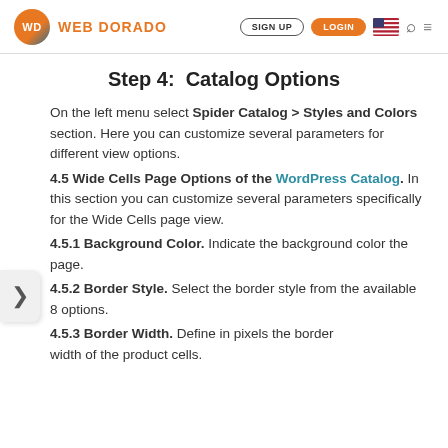WEB DORADO | SIGN UP | LOGIN
Step 4:  Catalog Options
On the left menu select Spider Catalog > Styles and Colors section. Here you can customize several parameters for different view options.
4.5 Wide Cells Page Options of the WordPress Catalog. In this section you can customize several parameters specifically for the Wide Cells page view.
4.5.1 Background Color. Indicate the background color the page.
4.5.2 Border Style. Select the border style from the available 8 options.
4.5.3 Border Width. Define in pixels the border width of the product cells.